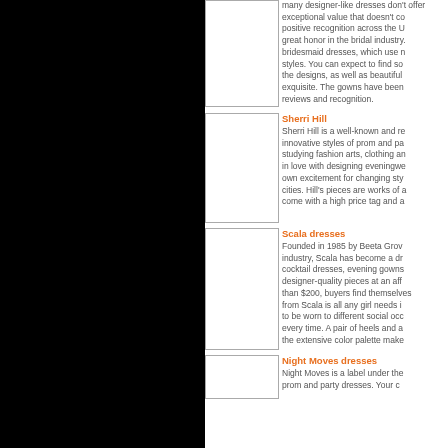many designer-like dresses don't offer exceptional value that doesn't co... positive recognition across the U... great honor in the bridal industry... bridesmaid dresses, which use n... styles. You can expect to find so... the designs, as well as beautiful... exquisite. The gowns have been... reviews and recognition.
Sherri Hill
Sherri Hill is a well-known and re... innovative styles of prom and pa... studying fashion arts, clothing an... in love with designing eveningwe... own excitement for changing sty... cities. Hill's pieces are works of a... come with a high price tag and a...
Scala dresses
Founded in 1985 by Beeta Grov... industry, Scala has become a dre... cocktail dresses, evening gowns... designer-quality pieces at an aff... than $200, buyers find themselves... from Scala is all any girl needs i... to be worn to different social occ... every time. A pair of heels and a... the extensive color palette make...
Night Moves dresses
Night Moves is a label under the... prom and party dresses. Your c...